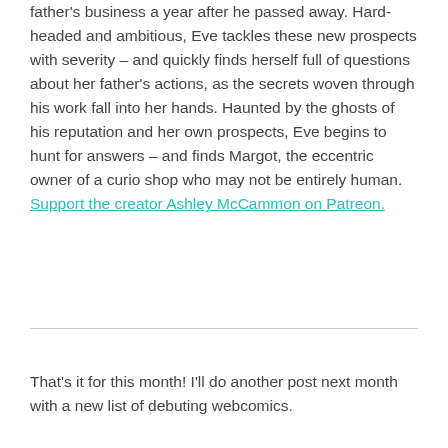father's business a year after he passed away. Hard-headed and ambitious, Eve tackles these new prospects with severity – and quickly finds herself full of questions about her father's actions, as the secrets woven through his work fall into her hands. Haunted by the ghosts of his reputation and her own prospects, Eve begins to hunt for answers – and finds Margot, the eccentric owner of a curio shop who may not be entirely human. Support the creator Ashley McCammon on Patreon.
That's it for this month! I'll do another post next month with a new list of debuting webcomics.